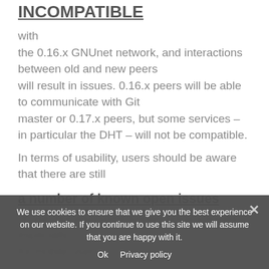INCOMPATIBLE
with the 0.16.x GNUnet network, and interactions between old and new peers will result in issues. 0.16.x peers will be able to communicate with Git master or 0.17.x peers, but some services – in particular the DHT – will not be compatible.
In terms of usability, users should be aware that there are still
a number of known open issues
of use, but also some known privacy issues especially for mobile users
We use cookies to ensure that we give you the best experience on our website. If you continue to use this site we will assume that you are happy with it.
Ok   Privacy policy